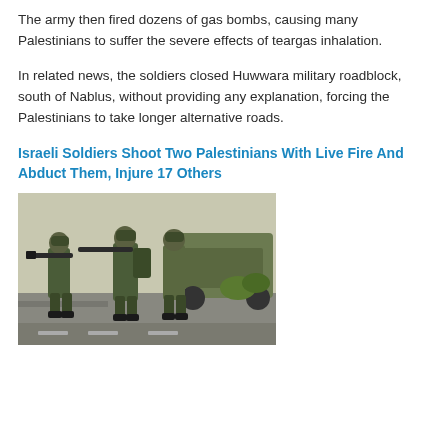The army then fired dozens of gas bombs, causing many Palestinians to suffer the severe effects of teargas inhalation.
In related news, the soldiers closed Huwwara military roadblock, south of Nablus, without providing any explanation, forcing the Palestinians to take longer alternative roads.
Israeli Soldiers Shoot Two Palestinians With Live Fire And Abduct Them, Injure 17 Others
[Figure (photo): Three soldiers in military camouflage gear aiming rifles on a road, with a military vehicle in the background.]